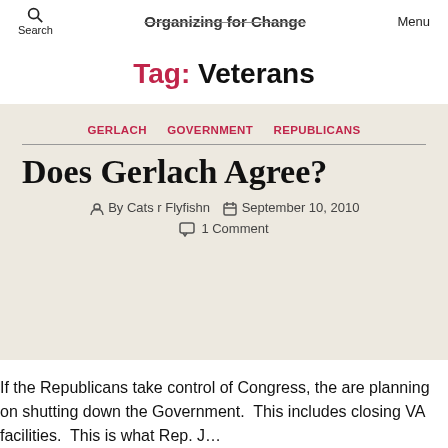Search   Organizing for Change   Menu
Tag: Veterans
GERLACH   GOVERNMENT   REPUBLICANS
Does Gerlach Agree?
By Cats r Flyfishn   September 10, 2010   1 Comment
If the Republicans take control of Congress, the are planning on shutting down the Government.  This includes closing VA facilities.  This is what Rep. J...